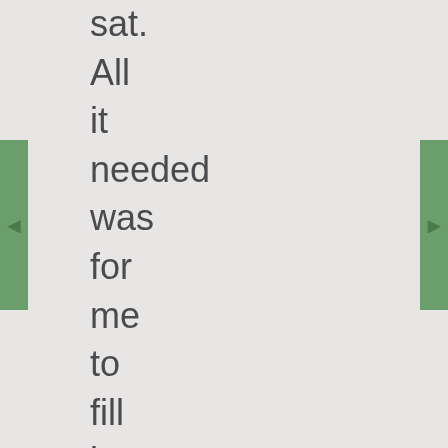sat. All it needed was for me to fill in all the sections with white, but blah... boring! I put it